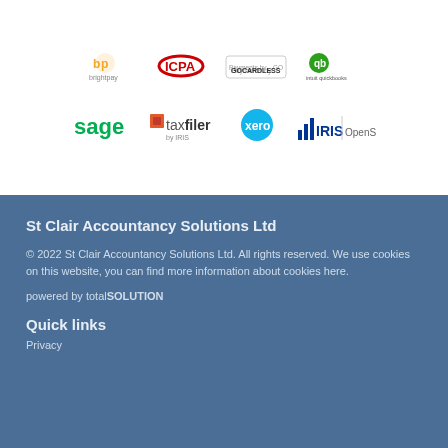[Figure (logo): Partner logos row 1: brightpay, ICPA, GoCardless, QuickBooks]
[Figure (logo): Partner logos row 2: sage, taxfiler by IRIS, xero, IRIS OpenSpace]
St Clair Accountancy Solutions Ltd
© 2022 St Clair Accountancy Solutions Ltd. All rights reserved. We use cookies on this website, you can find more information about cookies here.
powered by totalSOLUTION
Quick links
Privacy